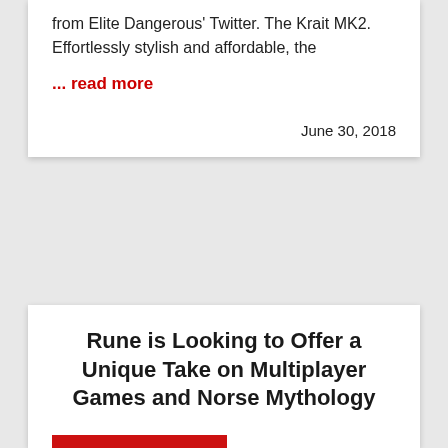from Elite Dangerous' Twitter. The Krait MK2. Effortlessly stylish and affordable, the
... read more
June 30, 2018
Rune is Looking to Offer a Unique Take on Multiplayer Games and Norse Mythology
Chris Rhinehart